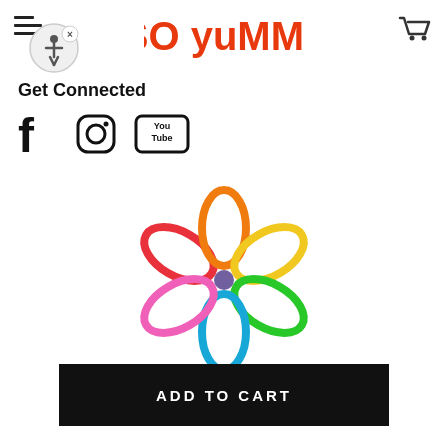[Figure (logo): So Yummy logo in bold orange-red bubbly font]
[Figure (illustration): Hamburger menu icon (three lines)]
[Figure (illustration): Accessibility icon button (circle with person figure and X)]
[Figure (illustration): Shopping cart icon]
Get Connected
[Figure (illustration): Social media icons: Facebook, Instagram, YouTube]
[Figure (logo): Colorful flower logo made of petal droplets in red, orange, yellow, green, blue, teal, pink with purple center]
[Figure (illustration): ADD TO CART black button]